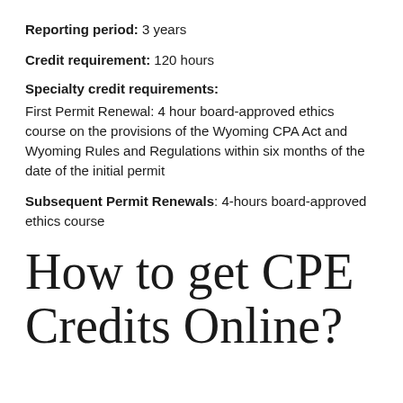Reporting period: 3 years
Credit requirement: 120 hours
Specialty credit requirements:
First Permit Renewal: 4 hour board-approved ethics course on the provisions of the Wyoming CPA Act and Wyoming Rules and Regulations within six months of the date of the initial permit
Subsequent Permit Renewals: 4-hours board-approved ethics course
How to get CPE Credits Online?